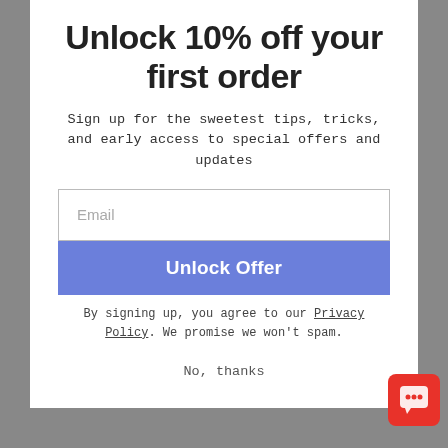Unlock 10% off your first order
Sign up for the sweetest tips, tricks, and early access to special offers and updates
Email
Unlock Offer
By signing up, you agree to our Privacy Policy. We promise we won't spam.
No, thanks